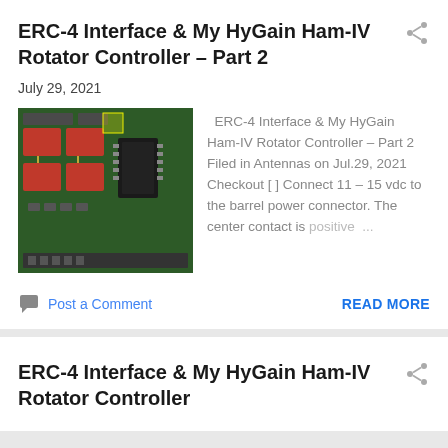ERC-4 Interface & My HyGain Ham-IV Rotator Controller – Part 2
July 29, 2021
[Figure (photo): Circuit board photo showing red components, relays and ICs on a green PCB]
ERC-4 Interface & My HyGain Ham-IV Rotator Controller – Part 2 Filed in Antennas on Jul.29, 2021 Checkout [ ] Connect 11 – 15 vdc to the barrel power connector. The center contact is positive ...
Post a Comment
READ MORE
ERC-4 Interface & My HyGain Ham-IV Rotator Controller